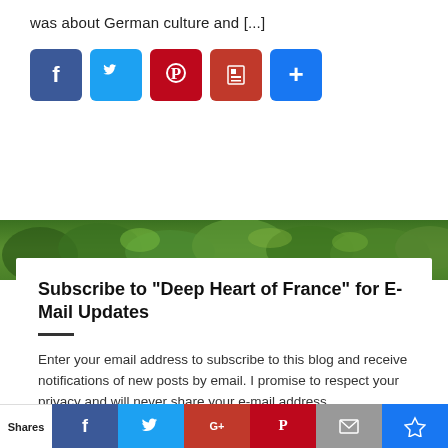was about German culture and [...]
[Figure (infographic): Row of social sharing icon buttons: Facebook (blue), Twitter (light blue), Pinterest (red), Flipboard (red), share/plus (blue)]
[Figure (photo): Aerial photograph of dense forest/trees with green foliage]
Subscribe to "Deep Heart of France" for E-Mail Updates
Enter your email address to subscribe to this blog and receive notifications of new posts by email. I promise to respect your privacy and will never share your e-mail address.
[Figure (infographic): Email address input field with placeholder text 'Email Address']
[Figure (infographic): Bottom sharing bar with 'Shares' label and icons for Facebook, Twitter, Google+, Pinterest, Email, and a crown/bookmark icon]